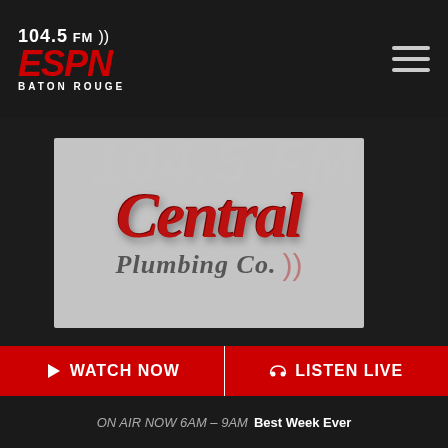104.5 FM ESPN Baton Rouge
[Figure (logo): Central Plumbing Co. logo in red script with grey background card, overlaid on ESPN Baton Rouge watermark background]
Share:
← Back To Archive
▷ WATCH NOW
🎧 LISTEN LIVE
ON AIR NOW 6AM - 9AM  Best Week Ever